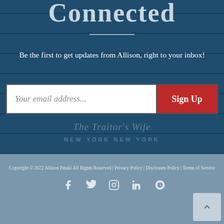Connected
Be the first to get updates from Allison, right to your inbox!
[Figure (screenshot): Email signup form with white input field placeholder 'Your email address...' and red 'Sign Up' button]
[Figure (illustration): Book cover text overlay showing 'The Traitor's Wife' and 'NEW YORK' on dark blue background]
Copyright © 2022 Allison Pataki All Rights Reserved | Privacy Policy | Disclosure Policy | Terms of Service
[Figure (other): Social media icons: Facebook, Twitter, Instagram, LinkedIn, Goodreads, and scroll-to-top button]